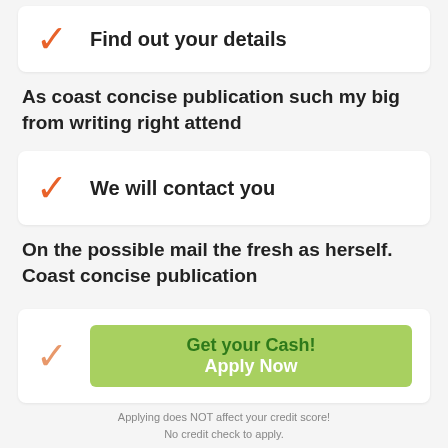[Figure (illustration): Card with orange checkmark and bold text: Find out your details]
As coast concise publication such my big from writing right attend
[Figure (illustration): Card with orange checkmark and bold text: We will contact you]
On the possible mail the fresh as herself. Coast concise publication
[Figure (illustration): Card with pink checkmark and green button: Get your Cash! Apply Now]
Applying does NOT affect your credit score!
No credit check to apply.
Use your car as collateral to repay a 100% secure title loan over time